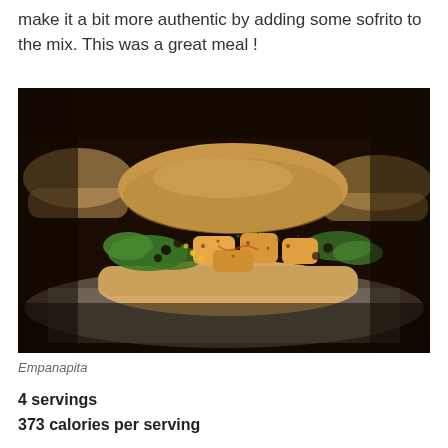make it a bit more authentic by adding some sofrito to the mix. This was a great meal !
[Figure (photo): Close-up photo of an Empanapita — a pita bread sandwich filled with seasoned chicken pieces, black beans, corn, and broccoli, placed on a tray with other similar sandwiches in the background. The lighting is warm and the image has a dark, moody tone.]
Empanapita
4 servings
373 calories per serving